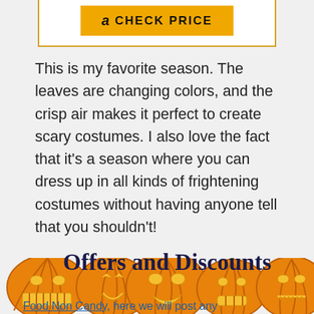[Figure (other): Amazon CHECK PRICE button inside a gold-bordered white box]
This is my favorite season. The leaves are changing colors, and the crisp air makes it perfect to create scary costumes. I also love the fact that it's a season where you can dress up in all kinds of frightening costumes without having anyone tell that you shouldn't!
Offers and Discounts
[Figure (illustration): Row of five Halloween jack-o-lantern pumpkins with various carved faces]
Food Non Candy, here we will post any